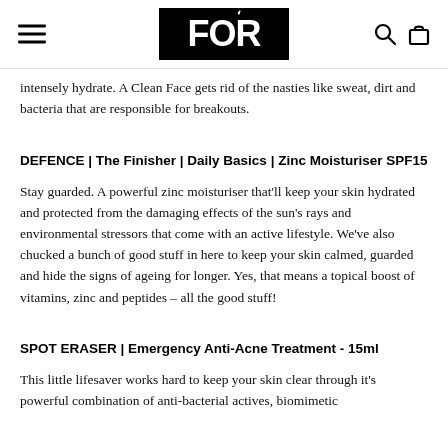FOR (logo with hamburger menu, search, and bag icons)
intensely hydrate. A Clean Face gets rid of the nasties like sweat, dirt and bacteria that are responsible for breakouts.
DEFENCE | The Finisher | Daily Basics | Zinc Moisturiser SPF15
Stay guarded. A powerful zinc moisturiser that'll keep your skin hydrated and protected from the damaging effects of the sun's rays and environmental stressors that come with an active lifestyle. We've also chucked a bunch of good stuff in here to keep your skin calmed, guarded and hide the signs of ageing for longer. Yes, that means a topical boost of vitamins, zinc and peptides – all the good stuff!
SPOT ERASER | Emergency Anti-Acne Treatment - 15ml
This little lifesaver works hard to keep your skin clear through it's powerful combination of anti-bacterial actives, biomimetic